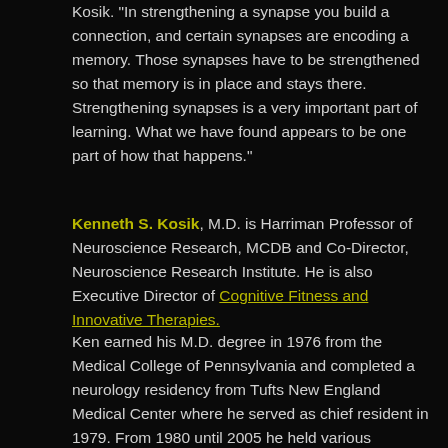Kosik. "In strengthening a synapse you build a connection, and certain synapses are encoding a memory. Those synapses have to be strengthened so that memory is in place and stays there. Strengthening synapses is a very important part of learning. What we have found appears to be one part of how that happens."
Kenneth S. Kosik, M.D. is Harriman Professor of Neuroscience Research, MCDB and Co-Director, Neuroscience Research Institute. He is also Executive Director of Cognitive Fitness and Innovative Therapies.
Ken earned his M.D. degree in 1976 from the Medical College of Pennsylvania and completed a neurology residency from Tufts New England Medical Center where he served as chief resident in 1979. From 1980 until 2005 he held various appointments at the Harvard Medical School where he became Professor of Neurology and Neuroscience in 1996. In the fall of 2004 he assumed the co-directorship of the Neuroscience Research Institute and the Harriman Chair in the